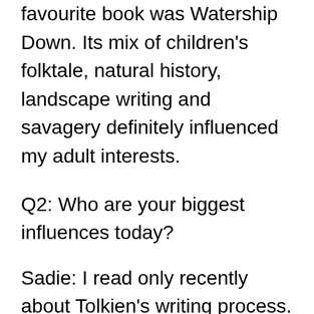favourite book was Watership Down. Its mix of children's folktale, natural history, landscape writing and savagery definitely influenced my adult interests.
Q2: Who are your biggest influences today?
Sadie: I read only recently about Tolkien's writing process. Having the patience and stamina to draft countless versions of a work, to have enough faith in the process and in the worth of what you are writing to labour, really labour, to create something, painstakingly working and reworking each strand, weaving the plot backwards not just to the end – that